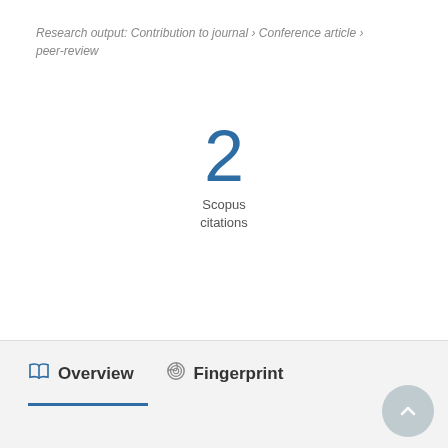Research output: Contribution to journal › Conference article › peer-review
2 Scopus citations
Overview   Fingerprint